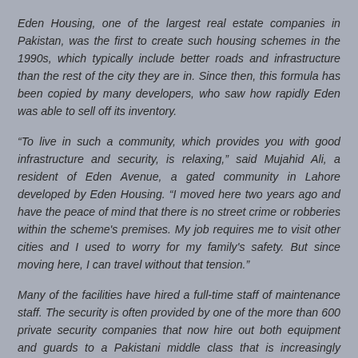Eden Housing, one of the largest real estate companies in Pakistan, was the first to create such housing schemes in the 1990s, which typically include better roads and infrastructure than the rest of the city they are in. Since then, this formula has been copied by many developers, who saw how rapidly Eden was able to sell off its inventory.
“To live in such a community, which provides you with good infrastructure and security, is relaxing,” said Mujahid Ali, a resident of Eden Avenue, a gated community in Lahore developed by Eden Housing. “I moved here two years ago and have the peace of mind that there is no street crime or robberies within the scheme's premises. My job requires me to visit other cities and I used to worry for my family's safety. But since moving here, I can travel without that tension.”
Many of the facilities have hired a full-time staff of maintenance staff. The security is often provided by one of the more than 600 private security companies that now hire out both equipment and guards to a Pakistani middle class that is increasingly concerned for its safety.